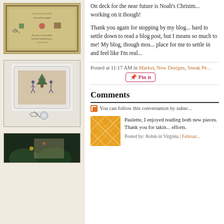[Figure (photo): Cross-stitch sampler with text and decorative motifs on aged fabric]
[Figure (photo): Cross-stitch piece in white ornate frame, showing figures under a tree, with scissors and thread below]
[Figure (photo): Christmas-themed cross-stitch piece with greenery]
On deck for the near future is Noah's Christm... working on it though!
Thank you again for stopping by my blog... hard to settle down to read a blog post, but I means so much to me! My blog, though mos... place for me to settle in and feel like I'm real...
Posted at 11:17 AM in Market, New Designs, Sneak Pe...
Comments
You can follow this conversation by subsc...
Paulette, I enjoyed reading both new pieces. Thank you for takin... efforts.
Posted by: Robin in Virginia | Februar...